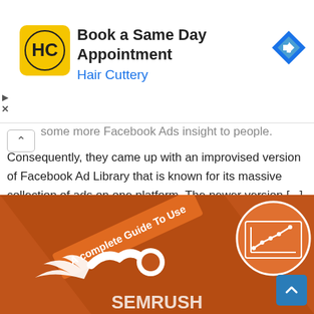[Figure (screenshot): Hair Cuttery advertisement banner showing logo, 'Book a Same Day Appointment' text, and navigation arrow icon]
some more Facebook Ads insight to people. Consequently, they came up with an improvised version of Facebook Ad Library that is known for its massive collection of ads on one platform. The newer version [...]
Continue Reading
[Figure (infographic): Orange promotional banner with text 'A complete Guide To Use', a line-chart icon in a circle, a flame/comet logo, and partial text at the bottom. Back-to-top blue button in bottom right.]